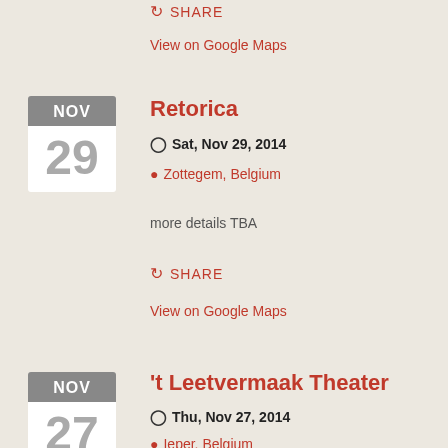SHARE
View on Google Maps
Retorica
Sat, Nov 29, 2014
Zottegem, Belgium
more details TBA
SHARE
View on Google Maps
't Leetvermaak Theater
Thu, Nov 27, 2014
Ieper, Belgium